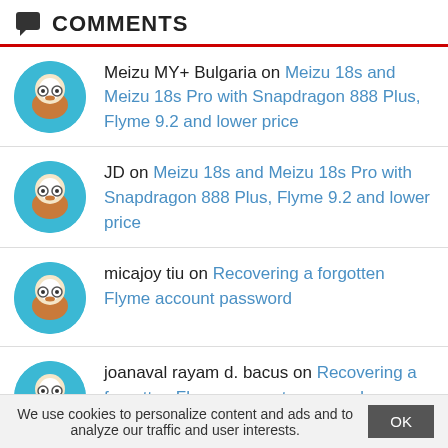COMMENTS
Meizu MY+ Bulgaria on Meizu 18s and Meizu 18s Pro with Snapdragon 888 Plus, Flyme 9.2 and lower price
JD on Meizu 18s and Meizu 18s Pro with Snapdragon 888 Plus, Flyme 9.2 and lower price
micajoy tiu on Recovering a forgotten Flyme account password
joanaval rayam d. bacus on Recovering a forgotten Flyme account password
We use cookies to personalize content and ads and to analyze our traffic and user interests.